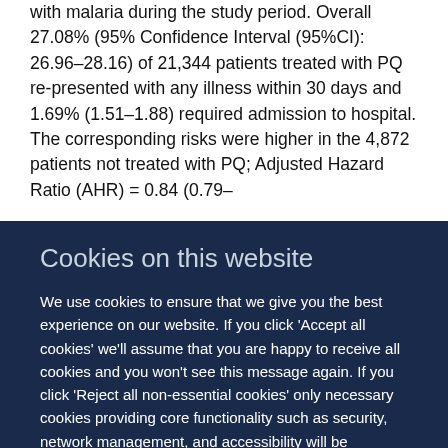with malaria during the study period. Overall 27.08% (95% Confidence Interval (95%CI): 26.96–28.16) of 21,344 patients treated with PQ re-presented with any illness within 30 days and 1.69% (1.51–1.88) required admission to hospital. The corresponding risks were higher in the 4,872 patients not treated with PQ; Adjusted Hazard Ratio (AHR) = 0.84 (0.79–
Cookies on this website
We use cookies to ensure that we give you the best experience on our website. If you click 'Accept all cookies' we'll assume that you are happy to receive all cookies and you won't see this message again. If you click 'Reject all non-essential cookies' only necessary cookies providing core functionality such as security, network management, and accessibility will be enabled. Click 'Find out more' for information on how to change your cookie settings.